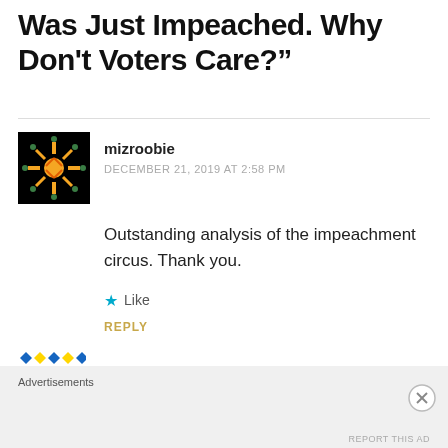Was Just Impeached. Why Don't Voters Care?"
mizroobie
DECEMBER 21, 2019 AT 2:58 PM
Outstanding analysis of the impeachment circus. Thank you.
Like
REPLY
ragnarsbhut
Advertisements